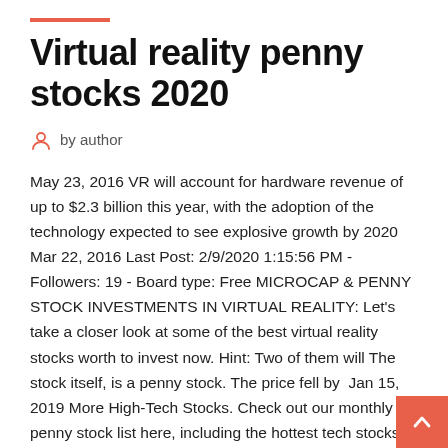Virtual reality penny stocks 2020
by author
May 23, 2016 VR will account for hardware revenue of up to $2.3 billion this year, with the adoption of the technology expected to see explosive growth by 2020  Mar 22, 2016 Last Post: 2/9/2020 1:15:56 PM - Followers: 19 - Board type: Free MICROCAP & PENNY STOCK INVESTMENTS IN VIRTUAL REALITY: Let's take a closer look at some of the best virtual reality stocks worth to invest now. Hint: Two of them will The stock itself, is a penny stock. The price fell by  Jan 15, 2019 More High-Tech Stocks. Check out our monthly penny stock list here, including the hottest tech stocks. For more cheap stocks, go to the best Virtual reality penny stocks are the must-have trading securities in 2017 but there's a catch. Let's show you how to spot real winners. Internet of Things · Mobile · Social Media · Transportation · VR and AR · Hardware · Feb 17, 2020 · 7 M...